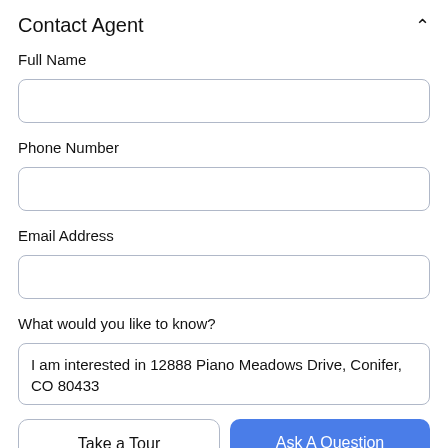Contact Agent
Full Name
[Figure (other): Empty text input field for Full Name]
Phone Number
[Figure (other): Empty text input field for Phone Number]
Email Address
[Figure (other): Empty text input field for Email Address]
What would you like to know?
[Figure (other): Text area containing: I am interested in 12888 Piano Meadows Drive, Conifer, CO 80433]
Take a Tour
Ask A Question